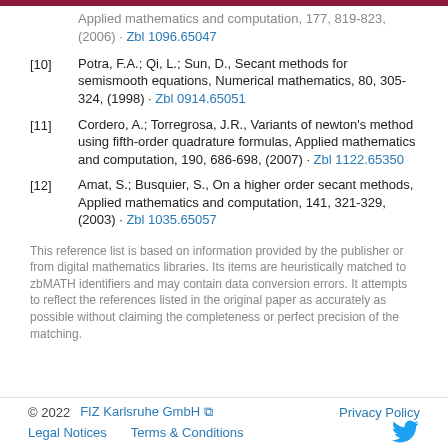[10] Potra, F.A.; Qi, L.; Sun, D., Secant methods for semismooth equations, Numerical mathematics, 80, 305-324, (1998) · Zbl 0914.65051
[11] Cordero, A.; Torregrosa, J.R., Variants of newton's method using fifth-order quadrature formulas, Applied mathematics and computation, 190, 686-698, (2007) · Zbl 1122.65350
[12] Amat, S.; Busquier, S., On a higher order secant methods, Applied mathematics and computation, 141, 321-329, (2003) · Zbl 1035.65057
This reference list is based on information provided by the publisher or from digital mathematics libraries. Its items are heuristically matched to zbMATH identifiers and may contain data conversion errors. It attempts to reflect the references listed in the original paper as accurately as possible without claiming the completeness or perfect precision of the matching.
© 2022   FIZ Karlsruhe GmbH   Privacy Policy   Legal Notices   Terms & Conditions